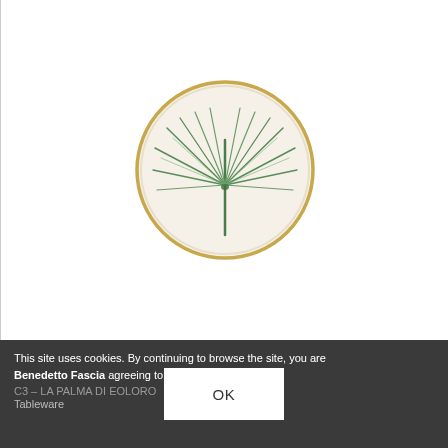[Figure (photo): A round decorative plate with a cream/white background and a painted green palm leaf (fan palm) design radiating from the center, with a thin gold rim border.]
This site uses cookies. By continuing to browse the site, you are agreeing to our use of cookies.
Benedetto Fascia
C3 – LA PALMA DI EOLORO
Tableware
OK